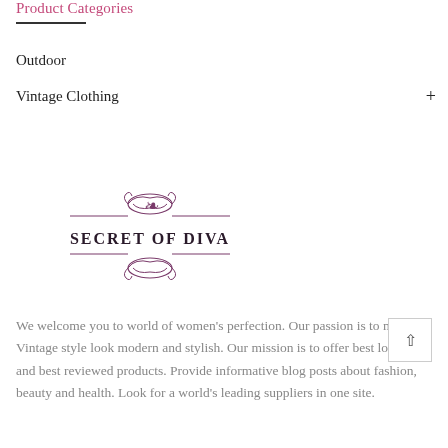Product Categories
Outdoor
Vintage Clothing
[Figure (logo): Secret of Diva logo with ornamental scroll design above and below the text 'SECRET OF DIVA' in purple/mauve color]
We welcome you to world of women's perfection. Our passion is to make Vintage style look modern and stylish. Our mission is to offer best looking and best reviewed products. Provide informative blog posts about fashion, beauty and health. Look for a world's leading suppliers in one site.